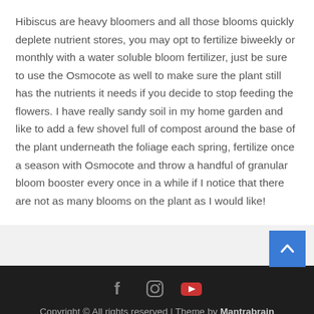Hibiscus are heavy bloomers and all those blooms quickly deplete nutrient stores, you may opt to fertilize biweekly or monthly with a water soluble bloom fertilizer, just be sure to use the Osmocote as well to make sure the plant still has the nutrients it needs if you decide to stop feeding the flowers. I have really sandy soil in my home garden and like to add a few shovel full of compost around the base of the plant underneath the foliage each spring, fertilize once a season with Osmocote and throw a handful of granular bloom booster every once in a while if I notice that there are not as many blooms on the plant as I would like!
Copyright © All rights reserved | Theme by Mantrabrain